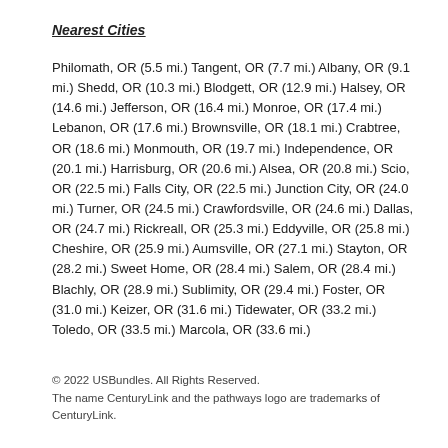Nearest Cities
Philomath, OR (5.5 mi.) Tangent, OR (7.7 mi.) Albany, OR (9.1 mi.) Shedd, OR (10.3 mi.) Blodgett, OR (12.9 mi.) Halsey, OR (14.6 mi.) Jefferson, OR (16.4 mi.) Monroe, OR (17.4 mi.) Lebanon, OR (17.6 mi.) Brownsville, OR (18.1 mi.) Crabtree, OR (18.6 mi.) Monmouth, OR (19.7 mi.) Independence, OR (20.1 mi.) Harrisburg, OR (20.6 mi.) Alsea, OR (20.8 mi.) Scio, OR (22.5 mi.) Falls City, OR (22.5 mi.) Junction City, OR (24.0 mi.) Turner, OR (24.5 mi.) Crawfordsville, OR (24.6 mi.) Dallas, OR (24.7 mi.) Rickreall, OR (25.3 mi.) Eddyville, OR (25.8 mi.) Cheshire, OR (25.9 mi.) Aumsville, OR (27.1 mi.) Stayton, OR (28.2 mi.) Sweet Home, OR (28.4 mi.) Salem, OR (28.4 mi.) Blachly, OR (28.9 mi.) Sublimity, OR (29.4 mi.) Foster, OR (31.0 mi.) Keizer, OR (31.6 mi.) Tidewater, OR (33.2 mi.) Toledo, OR (33.5 mi.) Marcola, OR (33.6 mi.)
© 2022 USBundles. All Rights Reserved.
The name CenturyLink and the pathways logo are trademarks of CenturyLink.